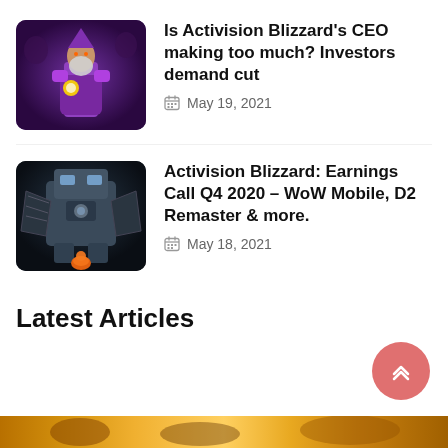[Figure (screenshot): Game screenshot thumbnail showing a World of Warcraft character in purple robes with a glowing orb, dark fantasy background]
Is Activision Blizzard's CEO making too much? Investors demand cut
May 19, 2021
[Figure (screenshot): Game screenshot thumbnail showing a large robotic/mechanical boss creature in a dark dungeon setting with a small orange character]
Activision Blizzard: Earnings Call Q4 2020 – WoW Mobile, D2 Remaster & more.
May 18, 2021
Latest Articles
[Figure (screenshot): Partial image at bottom showing golden/orange game artwork]